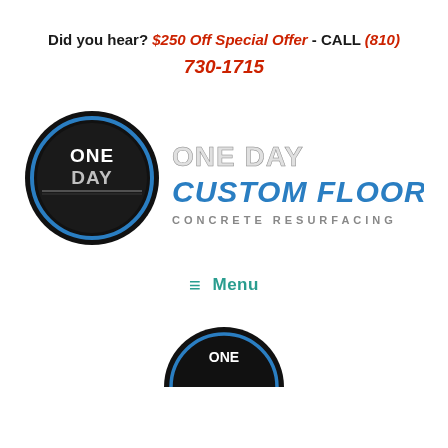Did you hear? $250 Off Special Offer - CALL (810) 730-1715
[Figure (logo): One Day Custom Floors - Concrete Resurfacing logo with circular badge on left and large stylized text on right]
≡ Menu
[Figure (logo): Partial circular logo visible at bottom of page, same as One Day Custom Floors logo]